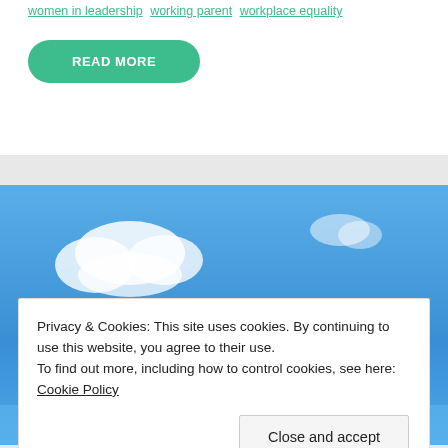women in leadership  working parent  workplace equality
READ MORE
[Figure (photo): Blue sky with white clouds]
Privacy & Cookies: This site uses cookies. By continuing to use this website, you agree to their use.
To find out more, including how to control cookies, see here: Cookie Policy
Close and accept